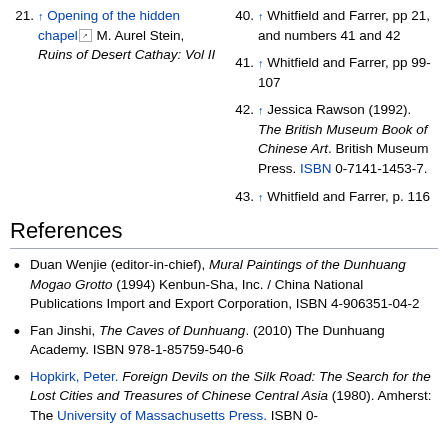21. ↑ Opening of the hidden chapel M. Aurel Stein, Ruins of Desert Cathay: Vol II
40. ↑ Whitfield and Farrer, pp 21, and numbers 41 and 42
41. ↑ Whitfield and Farrer, pp 99-107
42. ↑ Jessica Rawson (1992). The British Museum Book of Chinese Art. British Museum Press. ISBN 0-7141-1453-7.
43. ↑ Whitfield and Farrer, p. 116
References
Duan Wenjie (editor-in-chief), Mural Paintings of the Dunhuang Mogao Grotto (1994) Kenbun-Sha, Inc. / China National Publications Import and Export Corporation, ISBN 4-906351-04-2
Fan Jinshi, The Caves of Dunhuang. (2010) The Dunhuang Academy. ISBN 978-1-85759-540-6
Hopkirk, Peter. Foreign Devils on the Silk Road: The Search for the Lost Cities and Treasures of Chinese Central Asia (1980). Amherst: The University of Massachusetts Press. ISBN 0-